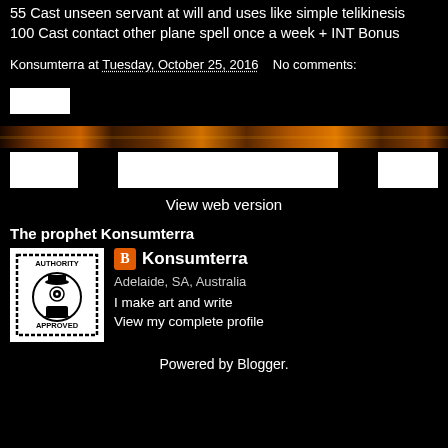55 Cast unseen servant at will and uses like simple telikinesis
100 Cast contact other plane spell once a week + INT Bonus
Konsumterra at Tuesday, October 25, 2016   No comments:
[Figure (screenshot): White share/action button]
[Figure (photo): Decorative flame/fire divider bar]
[Figure (screenshot): Navigation buttons: small white button, wide white button, small white button]
View web version
The prophet Konsumterra
[Figure (logo): Authority Approved stamp logo - circular design with eye and hat]
Konsumterra
Adelaide, SA, Australia
I make art and write
View my complete profile
Powered by Blogger.